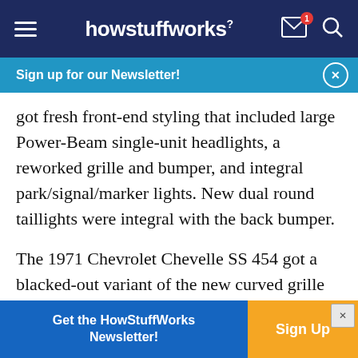howstuffworks
Sign up for our Newsletter!
got fresh front-end styling that included large Power-Beam single-unit headlights, a reworked grille and bumper, and integral park/signal/marker lights. New dual round taillights were integral with the back bumper.
The 1971 Chevrolet Chevelle SS 454 got a blacked-out variant of the new curved grille and a domed hood with lock pins. Its 454-cubic-inch V-8 engine could deliver either 365 or 425 horsepower
Get the HowStuffWorks Newsletter! Sign Up